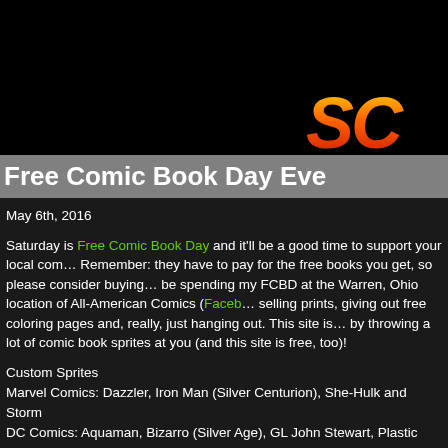[Figure (screenshot): Black header banner with a logo showing 'SC' in orange/red gradient italic text at the bottom right corner]
Free Comic Book Day Eve
May 6th, 2016
Saturday is Free Comic Book Day and it'll be a good time to support your local com… Remember: they have to pay for the free books you get, so please consider buying … be spending my FCBD at the Warren, Ohio location of All-American Comics (Faceb… selling prints, giving out free coloring pages and, really, just hanging out. This site is… by throwing a lot of comic book sprites at you (and this site is free, too)!
Custom Sprites
Marvel Comics: Dazzler, Iron Man (Silver Centurion), She-Hulk and Storm
DC Comics: Aquaman, Bizarro (Silver Age), GL John Stewart, Plastic Man (celebrat… anniversary this week), and Ultraman. Additions were made to the Superman Battle… Taito pose) gallery.
TMNT: Foot Soldier (Konami/cartoon and toy variants)